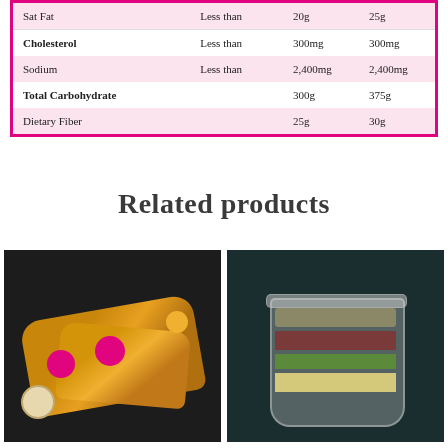|  |  | 2,000 cal | 2,500 cal |
| --- | --- | --- | --- |
| Sat Fat | Less than | 20g | 25g |
| Cholesterol | Less than | 300mg | 300mg |
| Sodium | Less than | 2,400mg | 2,400mg |
| Total Carbohydrate |  | 300g | 375g |
| Dietary Fiber |  | 25g | 30g |
Related products
[Figure (photo): Two orange/yellow wraps tied with kraft paper and pink branded stickers, on a dark slate surface, with a small sauce cup and yellow tomato]
[Figure (photo): A clear plastic cup/jar layered salad with visible purple cabbage, green peas, and light-colored ingredients on a dark teal background]